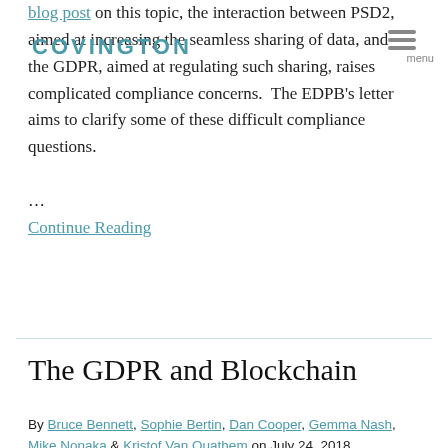COVINGTON | menu
blog post on this topic, the interaction between PSD2, aimed at increasing the seamless sharing of data, and the GDPR, aimed at regulating such sharing, raises complicated compliance concerns.  The EDPB's letter aims to clarify some of these difficult compliance questions.
…
Continue Reading
The GDPR and Blockchain
By Bruce Bennett, Sophie Bertin, Dan Cooper, Gemma Nash, Mike Nonaka & Kristof Van Quathem on July 24, 2018
POSTED IN BLOCKCHAIN, FINTECH